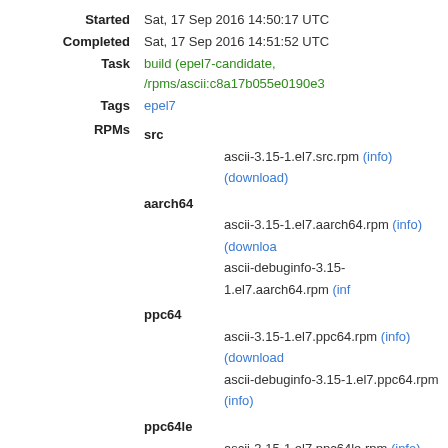Started: Sat, 17 Sep 2016 14:50:17 UTC
Completed: Sat, 17 Sep 2016 14:51:52 UTC
Task: build (epel7-candidate, /rpms/ascii:c8a17b055e0190e3…
Tags: epel7
RPMs: src
  ascii-3.15-1.el7.src.rpm (info) (download)
aarch64
  ascii-3.15-1.el7.aarch64.rpm (info) (download)
  ascii-debuginfo-3.15-1.el7.aarch64.rpm (info)
ppc64
  ascii-3.15-1.el7.ppc64.rpm (info) (download)
  ascii-debuginfo-3.15-1.el7.ppc64.rpm (info)
ppc64le
  ascii-3.15-1.el7.ppc64le.rpm (info) (download)
  ascii-debuginfo-3.15-1.el7.ppc64le.rpm (info)
x86_64
  ascii-3.15-1.el7.x86_64.rpm (info) (download)
  ascii-debuginfo-3.15-1.el7.x86_64.rpm (info)
Logs: x86_64